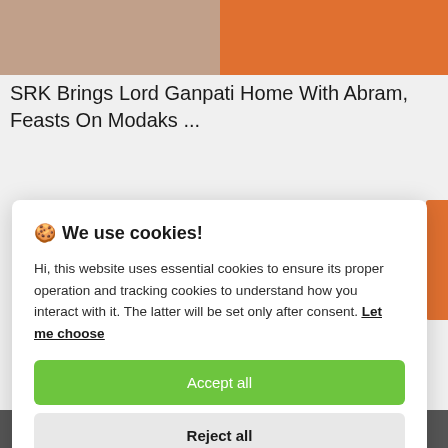[Figure (photo): Two side-by-side cropped photos: left shows textured brownish-red fabric/surface, right shows person in orange jacket/clothing]
SRK Brings Lord Ganpati Home With Abram, Feasts On Modaks ...
🍪 We use cookies!
Hi, this website uses essential cookies to ensure its proper operation and tracking cookies to understand how you interact with it. The latter will be set only after consent. Let me choose
Accept all
Reject all